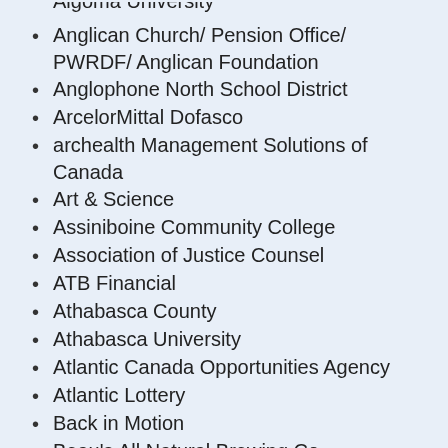Algoma University (partial, top cut off)
Anglican Church/ Pension Office/ PWRDF/ Anglican Foundation
Anglophone North School District
ArcelorMittal Dofasco
archealth Management Solutions of Canada
Art & Science
Assiniboine Community College
Association of Justice Counsel
ATB Financial
Athabasca County
Athabasca University
Atlantic Canada Opportunities Agency
Atlantic Lottery
Back in Motion
Beau's All Natural Brewing Co.
Benefits By Design Inc. (BBD)